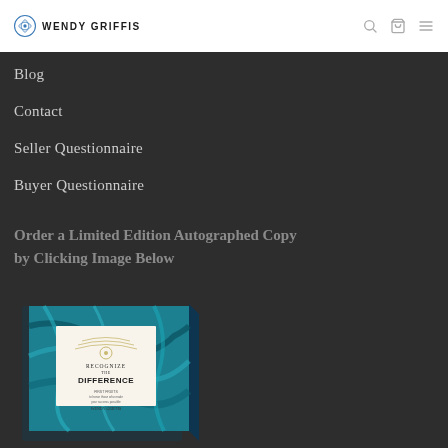WENDY GRIFFIS
Blog
Contact
Seller Questionnaire
Buyer Questionnaire
Order a Limited Edition Autographed Copy by Clicking Image Below
[Figure (photo): Book cover of 'Recognize the Difference' with teal marbled background, shown as a 3D angled book mockup]